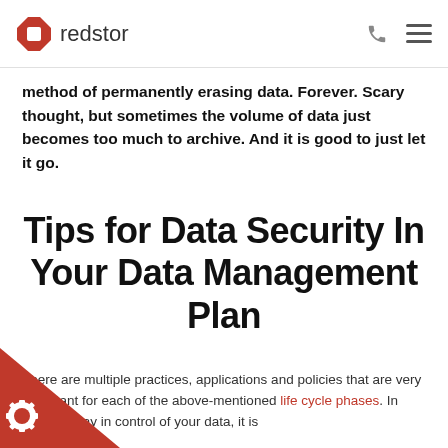redstor
method of permanently erasing data. Forever. Scary thought, but sometimes the volume of data just becomes too much to archive. And it is good to just let it go.
Tips for Data Security In Your Data Management Plan
There are multiple practices, applications and policies that are very important for each of the above-mentioned life cycle phases. In order to stay in control of your data, it is important to keep your data in a secure and effective manner.